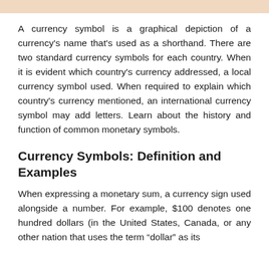A currency symbol is a graphical depiction of a currency's name that's used as a shorthand. There are two standard currency symbols for each country. When it is evident which country's currency addressed, a local currency symbol used. When required to explain which country's currency mentioned, an international currency symbol may add letters. Learn about the history and function of common monetary symbols.
Currency Symbols: Definition and Examples
When expressing a monetary sum, a currency sign used alongside a number. For example, $100 denotes one hundred dollars (in the United States, Canada, or any other nation that uses the term “dollar” as its